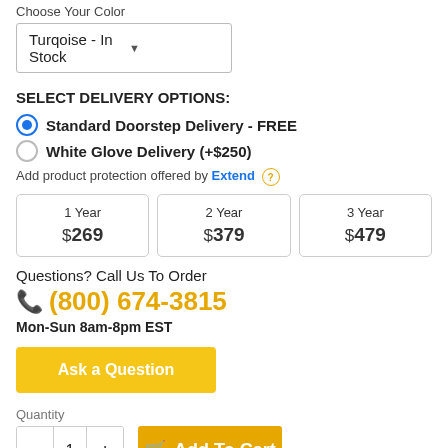Choose Your Color
Turqoise - In Stock
SELECT DELIVERY OPTIONS:
Standard Doorstep Delivery - FREE
White Glove Delivery (+$250)
Add product protection offered by Extend
| 1 Year | 2 Year | 3 Year |
| --- | --- | --- |
| $269 | $379 | $479 |
Questions? Call Us To Order
(800) 674-3815
Mon-Sun 8am-8pm EST
Ask a Question
Quantity
1
Add To Cart